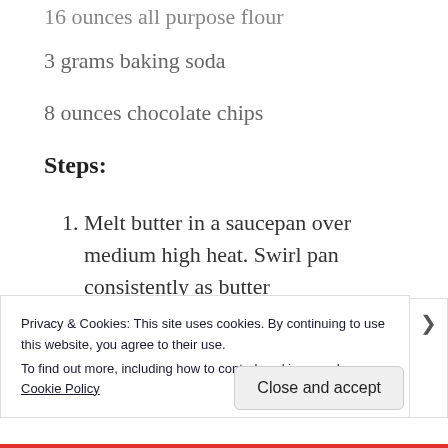16 ounces all purpose flour
3 grams baking soda
8 ounces chocolate chips
Steps:
1. Melt butter in a saucepan over medium high heat. Swirl pan consistently as butter
Privacy & Cookies: This site uses cookies. By continuing to use this website, you agree to their use.
To find out more, including how to control cookies, see here: Cookie Policy